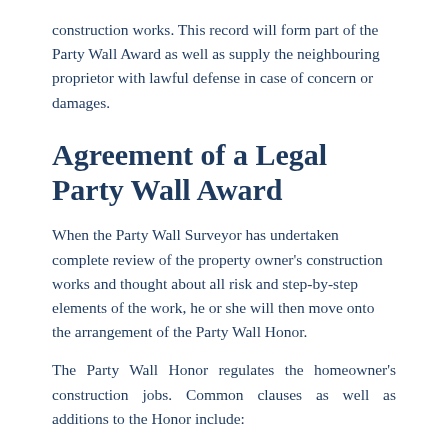construction works. This record will form part of the Party Wall Award as well as supply the neighbouring proprietor with lawful defense in case of concern or damages.
Agreement of a Legal Party Wall Award
When the Party Wall Surveyor has undertaken complete review of the property owner's construction works and thought about all risk and step-by-step elements of the work, he or she will then move onto the arrangement of the Party Wall Honor.
The Party Wall Honor regulates the homeowner's construction jobs. Common clauses as well as additions to the Honor include: